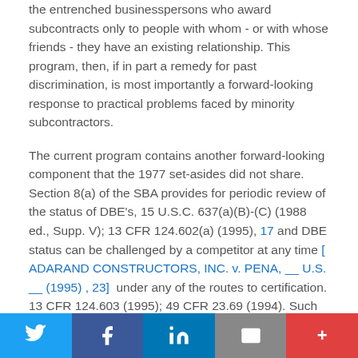the entrenched businesspersons who award subcontracts only to people with whom - or with whose friends - they have an existing relationship. This program, then, if in part a remedy for past discrimination, is most importantly a forward-looking response to practical problems faced by minority subcontractors.
The current program contains another forward-looking component that the 1977 set-asides did not share. Section 8(a) of the SBA provides for periodic review of the status of DBE's, 15 U.S.C. 637(a)(B)-(C) (1988 ed., Supp. V); 13 CFR 124.602(a) (1995), 17 and DBE status can be challenged by a competitor at any time [ ADARAND CONSTRUCTORS, INC. v. PENA, __ U.S. __ (1995) , 23]  under any of the routes to certification. 13 CFR 124.603 (1995); 49 CFR 23.69 (1994). Such review prevents ineligible firms from taking part in the program solely because of their minority ownership, even
Twitter | Facebook | LinkedIn | Email | +